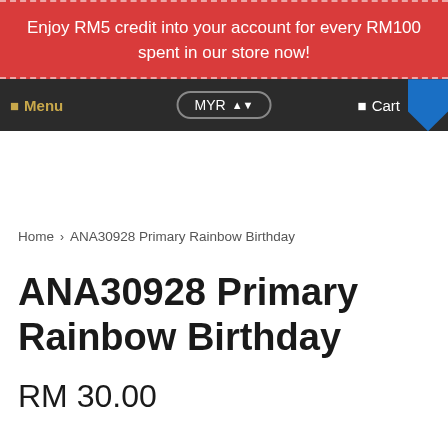Enjoy RM5 credit into your account for every RM100 spent in our store now!
Menu  MYR ▲▼  Cart
Home › ANA30928 Primary Rainbow Birthday
ANA30928 Primary Rainbow Birthday
RM 30.00